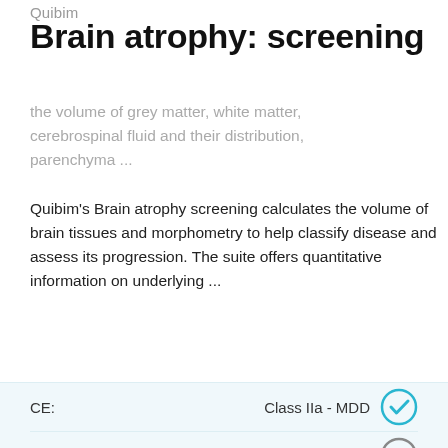Quibim
Brain atrophy: screening
the volume of grey matter, white matter, cerebrospinal fluid and their distribution, parenchyma ...
Quibim's Brain atrophy screening calculates the volume of brain tissues and morphometry to help classify disease and assess its progression. The suite offers quantitative information on underlying ...
Read more
| Field | Value |
| --- | --- |
| CE: | Class IIa - MDD ✓ |
| FDA: | ✗ |
| Information source: | Vendor |
| Certification verified: | Yes |